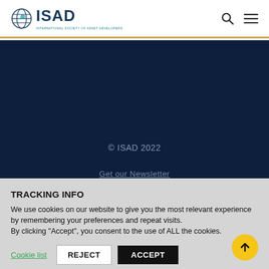ISAD — International Society of Asset Developers
© ISAD 2022
Get our Newsletter
TRACKING INFO
We use cookies on our website to give you the most relevant experience by remembering your preferences and repeat visits.
By clicking "Accept", you consent to the use of ALL the cookies.
Cookie list | REJECT | ACCEPT